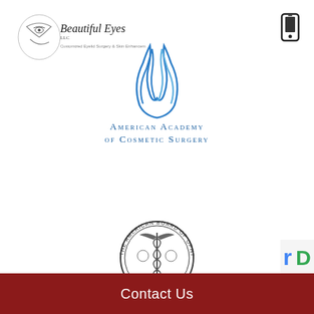[Figure (logo): Beautiful Eyes LLC logo — stylized face profile with text 'Beautiful Eyes LLC, Customized Eyelid Surgery & Skin Enhancements']
[Figure (logo): Smartphone/mobile phone icon in black]
[Figure (logo): American Academy of Cosmetic Surgery logo — blue curved flame/droplet shapes above text 'AMERICAN ACADEMY OF COSMETIC SURGERY' in blue small-caps serif font]
[Figure (logo): American Board of Ophthalmology seal — circular black and white emblem with caduceus figure, text 'THE AMERICAN BOARD OF OPHTHALMOLOGY · 1916 ·' around the border, with text 'AMERICAN BOARD OF OPHTHALMOLOGY' below in large sans-serif small-caps]
[Figure (logo): reCAPTCHA badge — partial blue 'rD' logo visible at bottom right corner]
Contact Us